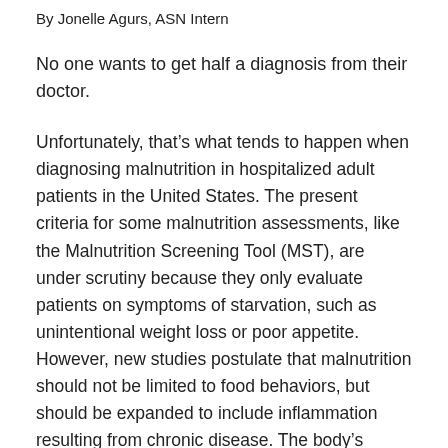By Jonelle Agurs, ASN Intern
No one wants to get half a diagnosis from their doctor.
Unfortunately, that’s what tends to happen when diagnosing malnutrition in hospitalized adult patients in the United States. The present criteria for some malnutrition assessments, like the Malnutrition Screening Tool (MST), are under scrutiny because they only evaluate patients on symptoms of starvation, such as unintentional weight loss or poor appetite. However, new studies postulate that malnutrition should not be limited to food behaviors, but should be expanded to include inflammation resulting from chronic disease. The body’s inflammatory response can intensify the symptoms of starvation, and vice versa; poor eating habits may induce inflammation as well. The human body does an impeccable job of patching itself up using the inflammatory response, but this process often triggers